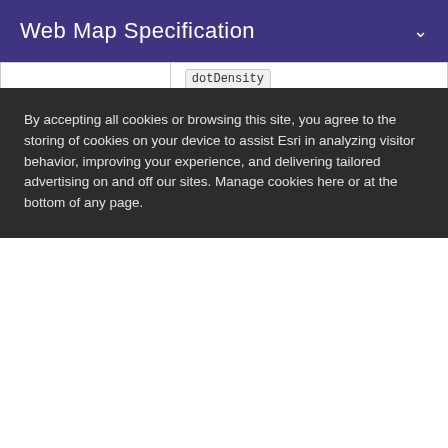Web Map Specification
| (partial/cropped) | dotDensity |
| visualVariables[] | An array of sizeInfo objects used to vary the outline width based on the view.scale. |
Dot Density Renderer Example
Dot Density Renderer of population by race in the
By accepting all cookies or browsing this site, you agree to the storing of cookies on your device to assist Esri in analyzing visitor behavior, improving your experience, and delivering tailored advertising on and off our sites. Manage cookies here or at the bottom of any page.